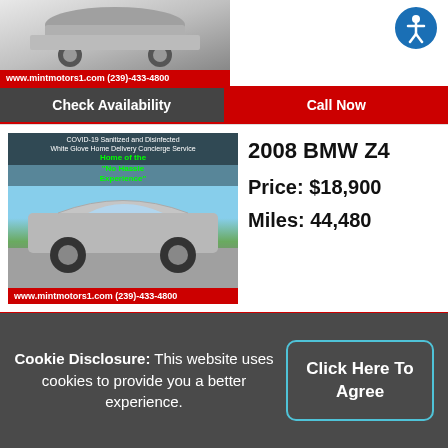[Figure (photo): Partial view of a car listing photo with url bar: www.mintmotors1.com (239)-433-4800]
Check Availability | Call Now
[Figure (photo): 2008 BMW Z4 convertible photo with COVID-19 sanitized notice overlay, green text 'Home of the No Hassle Experience'. URL bar: www.mintmotors1.com (239)-433-4800]
2008 BMW Z4
Price: $18,900
Miles: 44,480
Check Availability | Call Now
[Figure (photo): Partial 2008 BMW Z4 listing photo with overlay text]
2008 BMW Z4
Cookie Disclosure: This website uses cookies to provide you a better experience.
Click Here To Agree